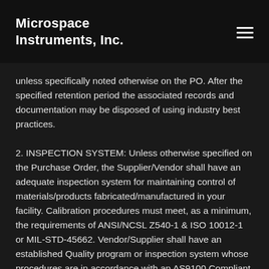Microspace Instruments, Inc.
unless specifically noted otherwise on the PO. After the specified retention period the associated records and documentation may be disposed of using industry best practices.
2. INSPECTION SYSTEM: Unless otherwise specified on the Purchase Order, the Supplier/Vendor shall have an adequate inspection system for maintaining control of materials/products fabricated/manufactured in your facility. Calibration procedures must meet, as a minimum, the requirements of ANSI/NCSL Z540-1 & ISO 10012-1 or MIL-STD-45662. Vendor/Supplier shall have an established Quality program or inspection system whose procedures are in accordance with an AS9100 Compliant System. Supplier/Vendor is in action